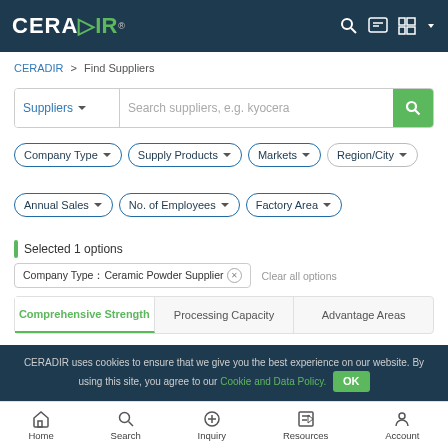CERADIR
CERADIR > Find Suppliers
Suppliers | Search suppliers, e.g. kyocera
Company Type | Supply Products | Markets | Region/City
Annual Sales | No. of Employees | Factory Area
Selected 1 options
Company Type：Ceramic Powder Supplier ✕   Clear all options
Comprehensive Strength | Processing Capacity | Advantage Areas
Newest   Found 634 Suppliers
CERADIR uses cookies to ensure that we give you the best experience on our website. By using this site, you agree to our Cookie and Data Policy. OK
Home | Search | Inquiry | Resources | Account